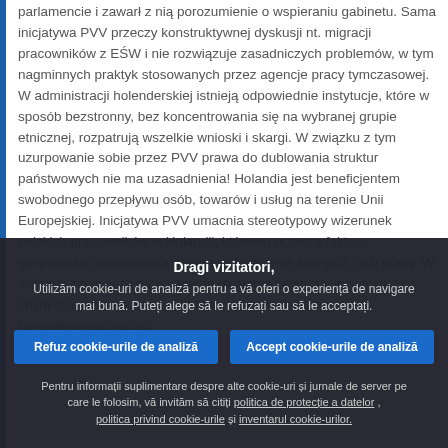parlamencie i zawarł z nią porozumienie o wspieraniu gabinetu. Sama inicjatywa PVV przeczy konstruktywnej dyskusji nt. migracji pracowników z EŚW i nie rozwiązuje zasadniczych problemów, w tym nagminnych praktyk stosowanych przez agencje pracy tymczasowej. W administracji holenderskiej istnieją odpowiednie instytucje, które w sposób bezstronny, bez koncentrowania się na wybranej grupie etnicznej, rozpatrują wszelkie wnioski i skargi. W związku z tym uzurpowanie sobie przez PVV prawa do dublowania struktur państwowych nie ma uzasadnienia! Holandia jest beneficjentem swobodnego przepływu osób, towarów i usług na terenie Unii Europejskiej. Inicjatywa PVV umacnia stereotypowy wizerunek polskich pracowników w Holandii, któremu przeczą fakty – gospodarka niderlandzka otrzymuje konkretne korzyści z ich pracy. W związku z tym liczę na konkretne działania ze strony instytucji unijnych oraz na publiczną i aktywną wypowiedź rządu holenderskiego wobec
Dragi vizitatori, Utilizăm cookie-uri de analiză pentru a vă oferi o experiență de navigare mai bună. Puteți alege să le refuzați sau să le acceptați. Refuz cookie-urile de analiză | Accept cookie-urile de analiză | Pentru informații suplimentare despre alte cookie-uri și jurnale de server pe care le folosim, vă invităm să citiți politica de protecție a datelor, politica privind cookie-urile și inventarul cookie-urilor.